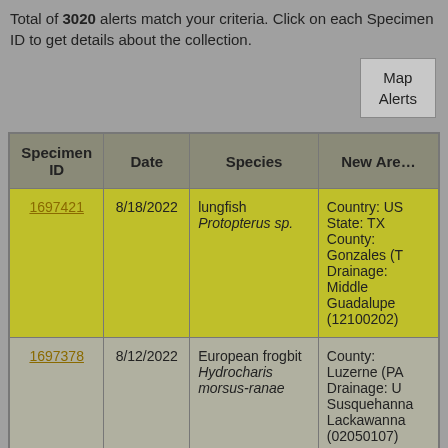Total of 3020 alerts match your criteria. Click on each Specimen ID to get details about the collection.
| Specimen ID | Date | Species | New Area |
| --- | --- | --- | --- |
| 1697421 | 8/18/2022 | lungfish Protopterus sp. | Country: US State: TX County: Gonzales (T Drainage: Middle Guadalupe (12100202) |
| 1697378 | 8/12/2022 | European frogbit Hydrocharis morsus-ranae | County: Luzerne (PA Drainage: U Susquehanna Lackawanna (02050107) |